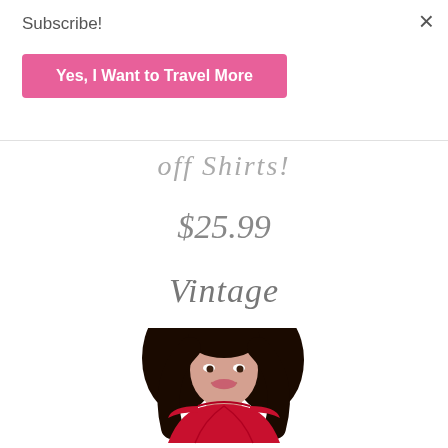Subscribe!
Yes, I Want to Travel More
×
off Shirts!
$25.99
Vintage
[Figure (photo): Woman wearing a red cap-sleeve vintage dress, smiling, dark hair]